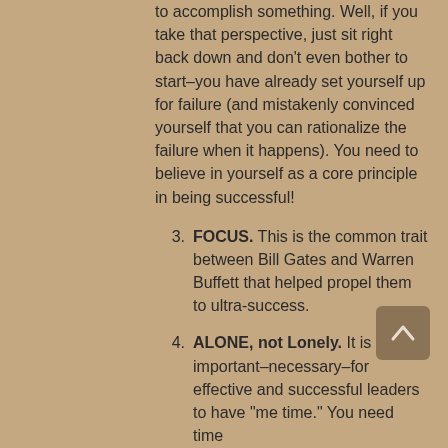to accomplish something. Well, if you take that perspective, just sit right back down and don't even bother to start–you have already set yourself up for failure (and mistakenly convinced yourself that you can rationalize the failure when it happens). You need to believe in yourself as a core principle in being successful!
3. FOCUS. This is the common trait between Bill Gates and Warren Buffett that helped propel them to ultra-success.
4. ALONE, not Lonely. It is important–necessary–for effective and successful leaders to have "me time." You need time